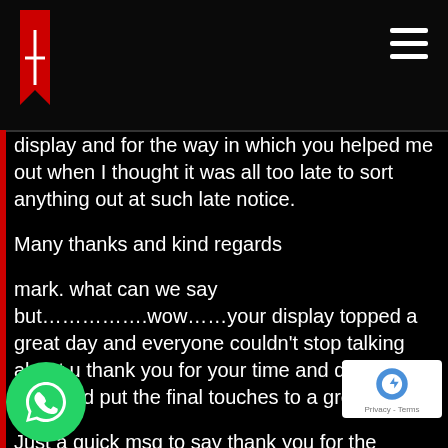[Figure (logo): Website header with red bookmark logo on left and hamburger menu on right, black background]
display and for the way in which you helped me out when I thought it was all too late to sort anything out at such late notice.
Many thanks and kind regards
mark. what can we say but…………….wow……your display topped a great day and everyone couldn't stop talking about u thank you for your time and display it really did put the final touches to a great day
Just a quick msg to say thank you for the display on Saturday afternoon. I guess sadly with an air display don't get to meet to say thank you in person!! wd was very unsuspecting and it came as a g surprise. Very unique! The show was really incredible